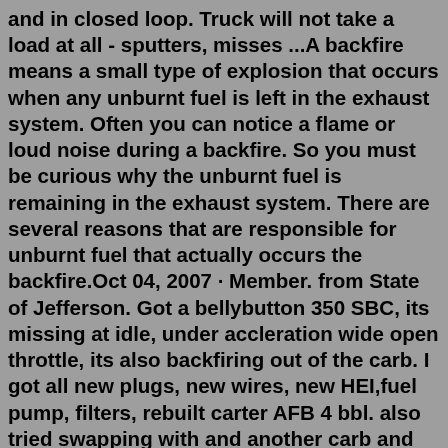and in closed loop. Truck will not take a load at all - sputters, misses ...A backfire means a small type of explosion that occurs when any unburnt fuel is left in the exhaust system. Often you can notice a flame or loud noise during a backfire. So you must be curious why the unburnt fuel is remaining in the exhaust system. There are several reasons that are responsible for unburnt fuel that actually occurs the backfire.Oct 04, 2007 · Member. from State of Jefferson. Got a bellybutton 350 SBC, its missing at idle, under accleration wide open throttle, its also backfiring out of the carb. I got all new plugs, new wires, new HEI,fuel pump, filters, rebuilt carter AFB 4 bbl. also tried swapping with and another carb and no luck. I was thinking cam getting worn or bad valve ... Posts: 6419. Exhaust backfire will result from too much fuel in the exhaust. It mixes with oxygen and the heat causes the bang. The fuel can come from rich condition or a misfire. The oxygen can come from a leak, left over in the cylinder from a misfire, or just